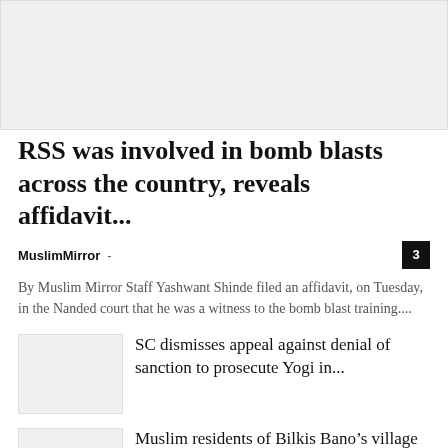[Figure (other): Advertisement banner placeholder, light gray background]
RSS was involved in bomb blasts across the country, reveals affidavit...
MuslimMirror -
By Muslim Mirror Staff Yashwant Shinde filed an affidavit, on Tuesday, in the Nanded court that he was a witness to the bomb blast training....
[Figure (photo): Thumbnail image placeholder for SC article, light gray]
SC dismisses appeal against denial of sanction to prosecute Yogi in...
[Figure (photo): Thumbnail image placeholder for Muslim residents article, light gray]
Muslim residents of Bilkis Bano’s village leave over fears of safety...